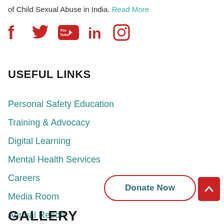of Child Sexual Abuse in India. Read More
[Figure (other): Social media icons: Facebook, Twitter, YouTube, LinkedIn, Instagram in red]
USEFUL LINKS
Personal Safety Education
Training & Advocacy
Digital Learning
Mental Health Services
Careers
Media Room
Annual Report
Donate Now
GALLERY